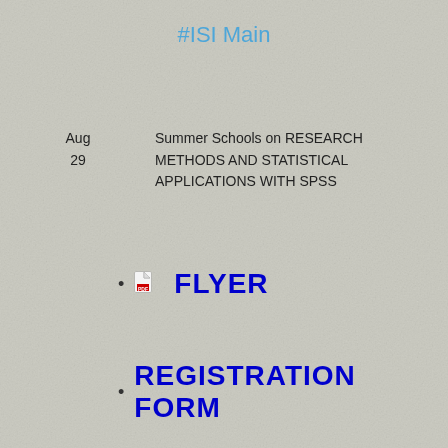#ISI Main
Aug
29
Summer Schools on RESEARCH METHODS AND STATISTICAL APPLICATIONS WITH SPSS
FLYER
REGISTRATION FORM